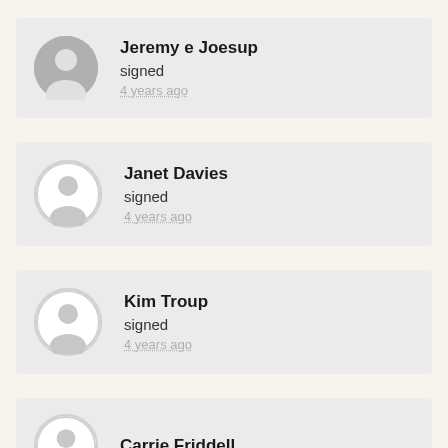Jeremy e Joesup
signed
4 years ago
Janet Davies
signed
4 years ago
Kim Troup
signed
4 years ago
Carrie Friddell